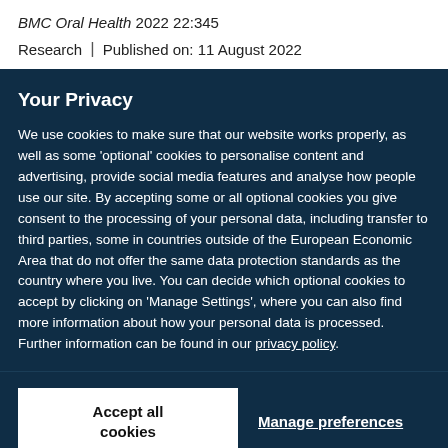BMC Oral Health 2022 22:345
Research | Published on: 11 August 2022
Your Privacy
We use cookies to make sure that our website works properly, as well as some 'optional' cookies to personalise content and advertising, provide social media features and analyse how people use our site. By accepting some or all optional cookies you give consent to the processing of your personal data, including transfer to third parties, some in countries outside of the European Economic Area that do not offer the same data protection standards as the country where you live. You can decide which optional cookies to accept by clicking on 'Manage Settings', where you can also find more information about how your personal data is processed. Further information can be found in our privacy policy.
Accept all cookies
Manage preferences